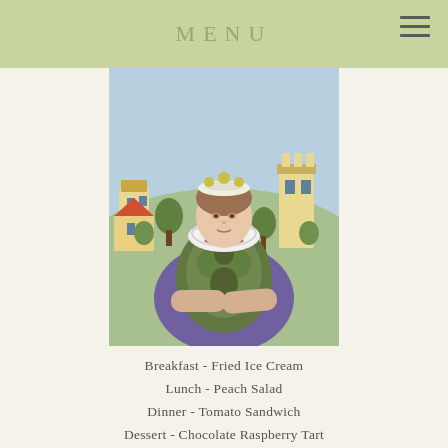MENU
[Figure (illustration): Decorative illustration of a woman in medieval/renaissance dress with a green bodice adorned with foliage patterns, arms crossed, wearing a white ruff collar and crown with orbs. Background shows a pastoral village scene with buildings and trees. Art nouveau style.]
Breakfast - Fried Ice Cream
Lunch - Peach Salad
Dinner - Tomato Sandwich
Dessert - Chocolate Raspberry Tart
[Figure (illustration): Decorative ornamental divider with black scrollwork and drop motif]
Breakfast
Fried Ice C…